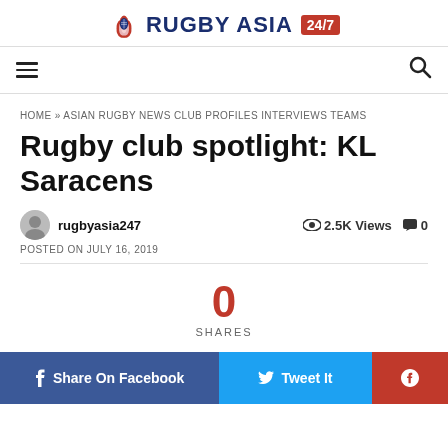RUGBY ASIA 24/7
HOME » ASIAN RUGBY NEWS CLUB PROFILES INTERVIEWS TEAMS
Rugby club spotlight: KL Saracens
rugbyasia247   2.5K Views  0
POSTED ON JULY 16, 2019
0 SHARES
f Share On Facebook   Tweet It   ®